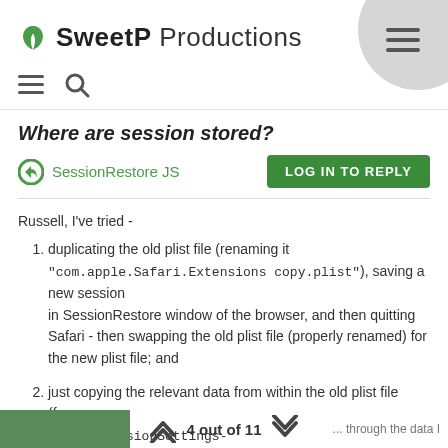SweetP Productions
Where are session stored?
SessionRestore JS
Russell, I've tried -
duplicating the old plist file (renaming it "com.apple.Safari.Extensions copy.plist"), saving a new session in SessionRestore window of the browser, and then quitting Safari - then swapping the old plist file (properly renamed) for the new plist file; and
just copying the relevant data from within the old plist file (from <key>ExtensionSettings-
4 out of 11